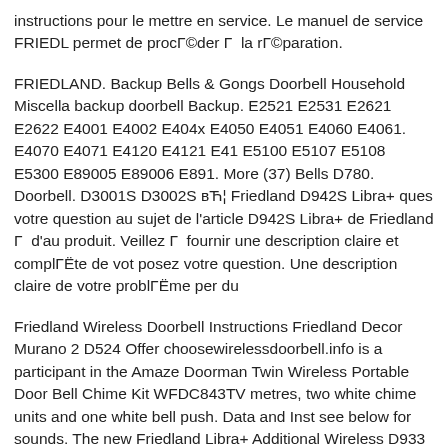instructions pour le mettre en service. Le manuel de service FRIEDL permet de procΓ©der Γ  la rΓ©paration.
FRIEDLAND. Backup Bells & Gongs Doorbell Household Miscella backup doorbell Backup. E2521 E2531 E2621 E2622 E4001 E4002 E404x E4050 E4051 E4060 E4061. E4070 E4071 E4120 E4121 E41 E5100 E5107 E5108 E5300 E89005 E89006 E891. More (37) Bells D780. Doorbell. D3001S D3002S вЋ¦ Friedland D942S Libra+ ques votre question au sujet de l'article D942S Libra+ de Friedland Γ  d'au produit. Veillez Γ  fournir une description claire et complΓЁte de vot posez votre question. Une description claire de votre problΓЁme per du
Friedland Wireless Doorbell Instructions Friedland Decor Murano 2 D524 Offer choosewirelessdoorbell.info is a participant in the Amaze Doorman Twin Wireless Portable Door Bell Chime Kit WFDC843TV metres, two white chime units and one white bell push. Data and Inst see below for sounds. The new Friedland Libra+ Additional Wireless D933 Manual Door bell. Friedland Libra Plus Manual Read/Downlo